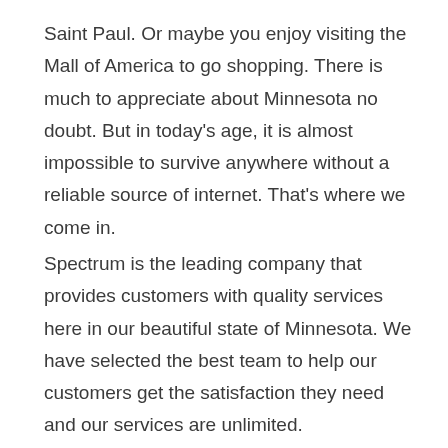Saint Paul. Or maybe you enjoy visiting the Mall of America to go shopping. There is much to appreciate about Minnesota no doubt. But in today's age, it is almost impossible to survive anywhere without a reliable source of internet. That's where we come in.
Spectrum is the leading company that provides customers with quality services here in our beautiful state of Minnesota. We have selected the best team to help our customers get the satisfaction they need and our services are unlimited.